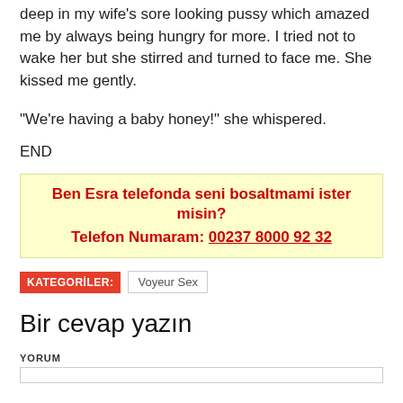deep in my wife's sore looking pussy which amazed me by always being hungry for more. I tried not to wake her but she stirred and turned to face me. She kissed me gently.
“We’re having a baby honey!” she whispered.
END
Ben Esra telefonda seni bosaltmami ister misin?
Telefon Numaram: 00237 8000 92 32
KATEGORİLER: Voyeur Sex
Bir cevap yazın
YORUM